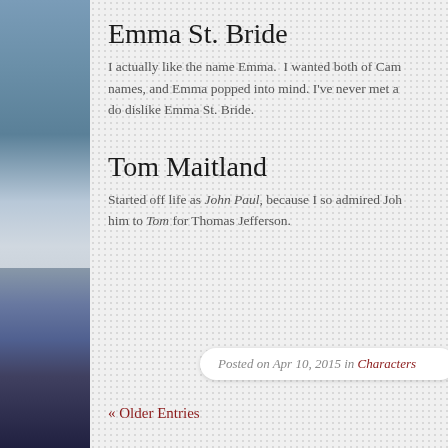Emma St. Bride
I actually like the name Emma.  I wanted both of Cam names, and Emma popped into mind. I've never met a do dislike Emma St. Bride.
Tom Maitland
Started off life as John Paul, because I so admired Joh him to Tom for Thomas Jefferson.
Posted on Apr 10, 2015 in Characters
« Older Entries